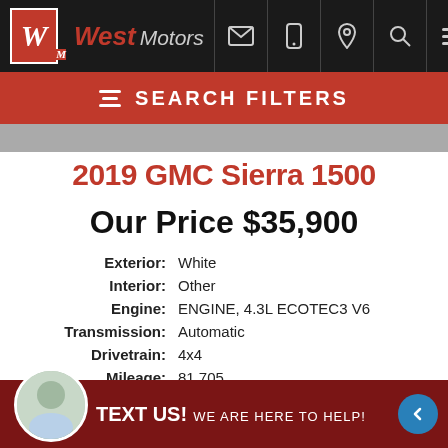West Motors — Navigation bar with logo and icons
SEARCH FILTERS
2019 GMC Sierra 1500
Our Price $35,900
| Label | Value |
| --- | --- |
| Exterior: | White |
| Interior: | Other |
| Engine: | ENGINE, 4.3L ECOTEC3 V6 |
| Transmission: | Automatic |
| Drivetrain: | 4x4 |
| Mileage: | 81,705 |
| City/Hwy: | 15 / 20 |
|  | 3GTP9AEH9KG151927 |
TEXT US! WE ARE HERE TO HELP!